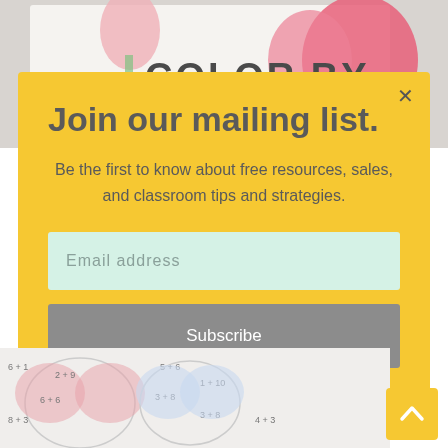[Figure (photo): Top portion of a 'Color By' coloring book page visible at the top of the screen behind the modal]
Join our mailing list.
Be the first to know about free resources, sales, and classroom tips and strategies.
Email address
Subscribe
[Figure (photo): Bottom portion of a color-by-number math worksheet showing hearts with addition problems like 6+1, 2+9, 6+6, 5+6, 1+10, 3+8, 3+8, 8+3, 4+3]